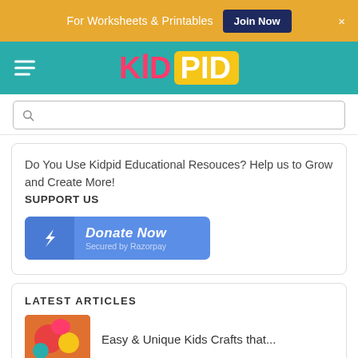For Worksheets & Printables  Join Now  ×
[Figure (logo): KIDPID logo with KID in pink/red and PID in white on yellow background, on teal navigation bar with hamburger menu]
Search box with magnifying glass icon
Do You Use Kidpid Educational Resouces? Help us to Grow and Create More!
SUPPORT US
[Figure (other): Donate Now button secured by Razorpay, blue button with payment icon]
LATEST ARTICLES
Easy & Unique Kids Crafts that...